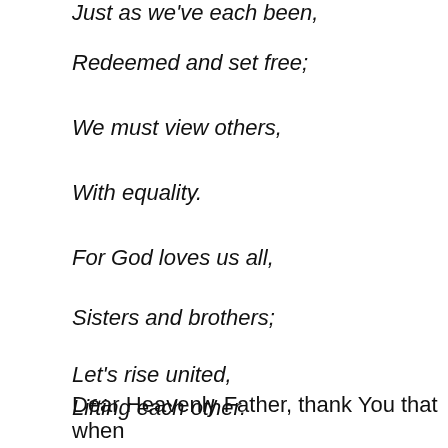Just as we've each been,
Redeemed and set free;
We must view others,
With equality.
For God loves us all,
Sisters and brothers;
Let's rise united,
Lifting each other.
Dear Heavenly Father, thank You that when